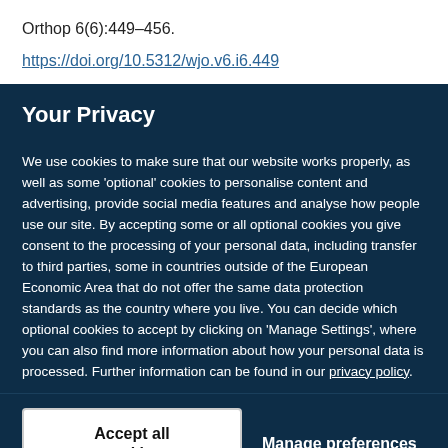Orthop 6(6):449–456.
https://doi.org/10.5312/wjo.v6.i6.449
Your Privacy
We use cookies to make sure that our website works properly, as well as some 'optional' cookies to personalise content and advertising, provide social media features and analyse how people use our site. By accepting some or all optional cookies you give consent to the processing of your personal data, including transfer to third parties, some in countries outside of the European Economic Area that do not offer the same data protection standards as the country where you live. You can decide which optional cookies to accept by clicking on 'Manage Settings', where you can also find more information about how your personal data is processed. Further information can be found in our privacy policy.
Accept all cookies
Manage preferences